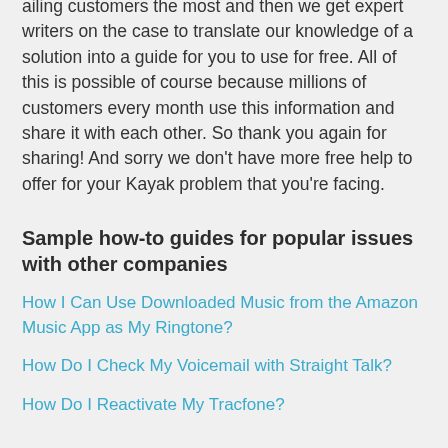ailing customers the most and then we get expert writers on the case to translate our knowledge of a solution into a guide for you to use for free. All of this is possible of course because millions of customers every month use this information and share it with each other. So thank you again for sharing! And sorry we don't have more free help to offer for your Kayak problem that you're facing.
Sample how-to guides for popular issues with other companies
How I Can Use Downloaded Music from the Amazon Music App as My Ringtone?
How Do I Check My Voicemail with Straight Talk?
How Do I Reactivate My Tracfone?